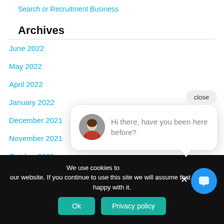Search or Recruitment Business
Archives
June 2022
May 2022
April 2022
January 2022
December 2021
November 2021
October 2021
close
Hi there, have you been here before?
We use cookies to our website. If you continue to use this site we will assume that you are happy with it.
Ok
Privacy policy